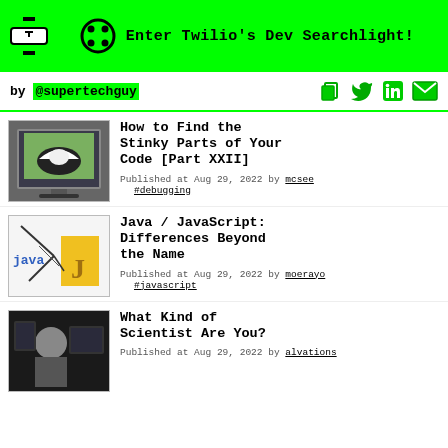Enter Twilio's Dev Searchlight!
by @supertechguy
How to Find the Stinky Parts of Your Code [Part XXII]
Published at Aug 29, 2022 by mcsee #debugging
Java / JavaScript: Differences Beyond the Name
Published at Aug 29, 2022 by moerayo #javascript
What Kind of Scientist Are You?
Published at Aug 29, 2022 by alvations